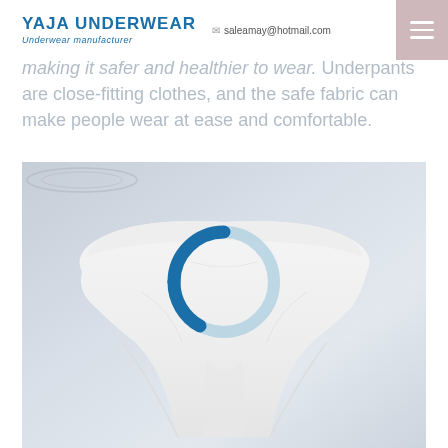YAJA UNDERWEAR | Underwear manufacturer | saleamay@hotmail.com
making it safer and healthier to wear. Underpants are close-fitting clothes, and the safe fabric can make people wear at ease and comfortable.
[Figure (photo): White women's underwear/panties laid flat on a light gray background, with a circular loading spinner overlay (dark blue and light blue ring) visible in the center of the image.]